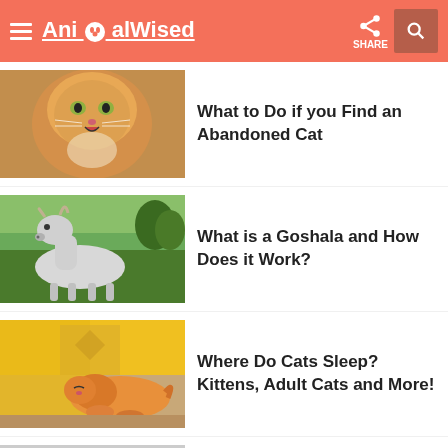AnimalWised
What to Do if you Find an Abandoned Cat
[Figure (photo): Close-up photo of a fluffy orange tabby cat with mouth open]
What is a Goshala and How Does it Work?
[Figure (photo): Photo of a white/grey goat or cow-like animal in a green field]
Where Do Cats Sleep? Kittens, Adult Cats and More!
[Figure (photo): Photo of an orange tabby cat sleeping under a yellow blanket]
What to Do if you Find a Lost Dog
[Figure (photo): Photo of a black and white fluffy dog]